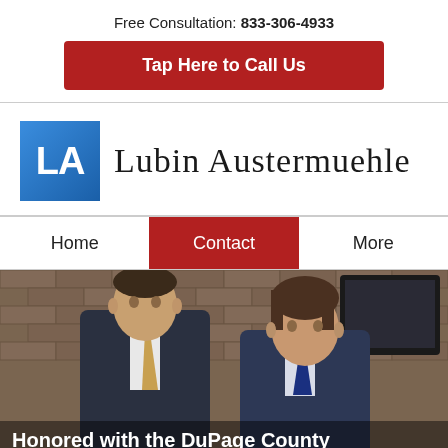Free Consultation: 833-306-4933
Tap Here to Call Us
[Figure (logo): Lubin Austermuehle law firm logo with 'LA' letters in a blue gradient box followed by firm name in serif font]
Home | Contact | More
[Figure (photo): Two male attorneys in suits standing in front of a brick wall with a TV screen visible in the background]
Honored with the DuPage County